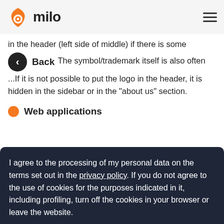milo
in the header (left side or middle) if there is some
The symbol/trademark itself is also often
Back
...If it is not possible to put the logo in the header, it is hidden in the sidebar or in the "about us" section.
Web applications
I agree to the processing of my personal data on the terms set out in the privacy policy. If you do not agree to the use of cookies for the purposes indicated in it, including profiling, turn off the cookies in your browser or leave the website.
Continue
Logo too small